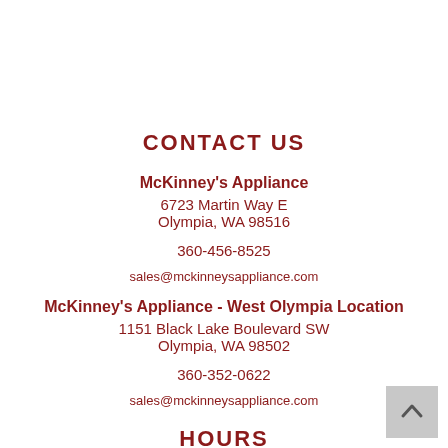CONTACT US
McKinney's Appliance
6723 Martin Way E
Olympia, WA 98516
360-456-8525
sales@mckinneysappliance.com
McKinney's Appliance - West Olympia Location
1151 Black Lake Boulevard SW
Olympia, WA 98502
360-352-0622
sales@mckinneysappliance.com
HOURS